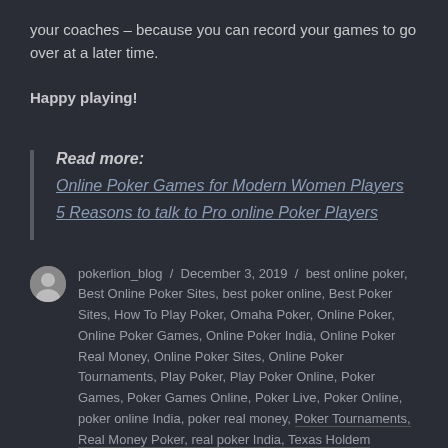your coaches – because you can record your games to go over at a later time.
Happy playing!
Read more:
Online Poker Games for Modern Women Players
5 Reasons to talk to Pro online Poker Players
pokerlion_blog / December 3, 2019 / best online poker, Best Online Poker Sites, best poker online, Best Poker Sites, How To Play Poker, Omaha Poker, Online Poker, Online Poker Games, Online Poker India, Online Poker Real Money, Online Poker Sites, Online Poker Tournaments, Play Poker, Play Poker Online, Poker Games, Poker Games Online, Poker Live, Poker Online, poker online India, poker real money, Poker Tournaments, Real Money Poker, real poker India, Texas Holdem